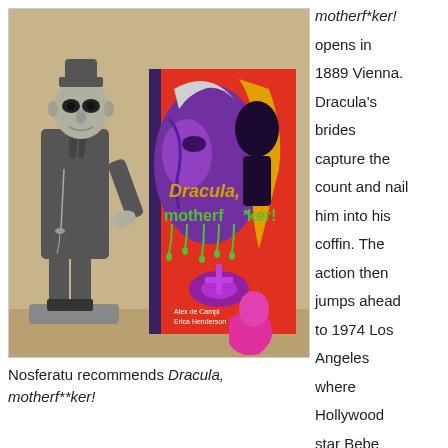[Figure (photo): A Nosferatu action figure standing next to a copy of the graphic novel 'Dracula, motherf*ker!' by Alex de Campi and Erica Henderson. The figure is wearing a grey coat and hat. The book cover features stylized purple, yellow, orange and red artwork.]
Nosferatu recommends Dracula, motherf**ker!
motherf*ker! opens in 1889 Vienna. Dracula's brides capture the count and nail him into his coffin. The action then jumps ahead to 1974 Los Angeles where Hollywood star Bebe Beauland